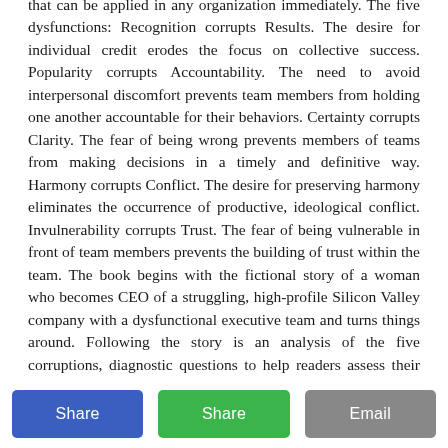that can be applied in any organization immediately. The five dysfunctions: Recognition corrupts Results. The desire for individual credit erodes the focus on collective success. Popularity corrupts Accountability. The need to avoid interpersonal discomfort prevents team members from holding one another accountable for their behaviors. Certainty corrupts Clarity. The fear of being wrong prevents members of teams from making decisions in a timely and definitive way. Harmony corrupts Conflict. The desire for preserving harmony eliminates the occurrence of productive, ideological conflict. Invulnerability corrupts Trust. The fear of being vulnerable in front of team members prevents the building of trust within the team. The book begins with the fictional story of a woman who becomes CEO of a struggling, high-profile Silicon Valley company with a dysfunctional executive team and turns things around. Following the story is an analysis of the five corruptions, diagnostic questions to help readers assess their organizations, and a teamwork model giving them action steps to overcome the corruptions.
Share | Share | Email